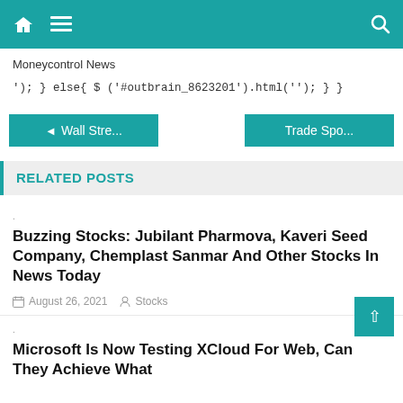Moneycontrol News
'); } else{ $ ('#outbrain_8623201').html(''); } }
◄ Wall Stre...   Trade Spo...
RELATED POSTS
.
Buzzing Stocks: Jubilant Pharmova, Kaveri Seed Company, Chemplast Sanmar And Other Stocks In News Today
August 26, 2021   Stocks
.
Microsoft Is Now Testing XCloud For Web, Can They Achieve What